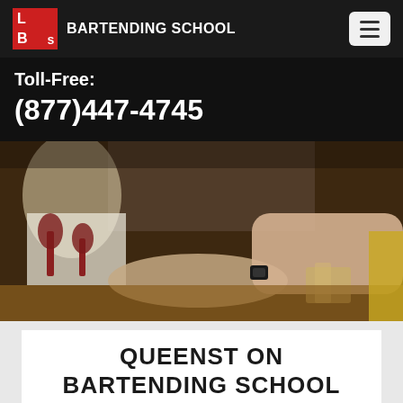LBS BARTENDING SCHOOL
Toll-Free:
(877)447-4745
[Figure (photo): People at a bar counter, bartender serving drinks, wine glasses visible, warm amber lighting]
QUEENST ON BARTENDING SCHOOL